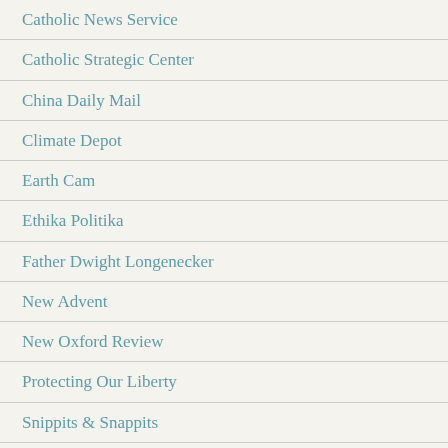Catholic News Service
Catholic Strategic Center
China Daily Mail
Climate Depot
Earth Cam
Ethika Politika
Father Dwight Longenecker
New Advent
New Oxford Review
Protecting Our Liberty
Snippits & Snappits